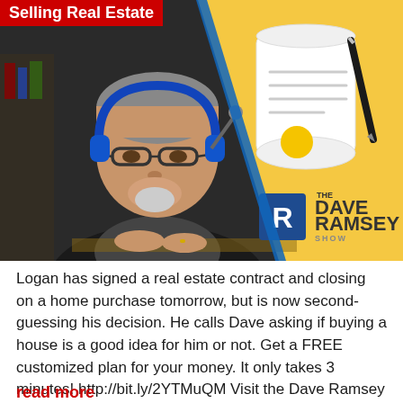Selling Real Estate
[Figure (photo): Thumbnail image showing a man with headphones and glasses (Dave Ramsey) on the left half, and a yellow background with a cartoon document/contract icon and pen on the right half, with The Dave Ramsey Show logo in the lower right.]
Logan has signed a real estate contract and closing on a home purchase tomorrow, but is now second-guessing his decision. He calls Dave asking if buying a house is a good idea for him or not. Get a FREE customized plan for your money. It only takes 3 minutes! http://bit.ly/2YTMuQM Visit the Dave Ramsey store
read more